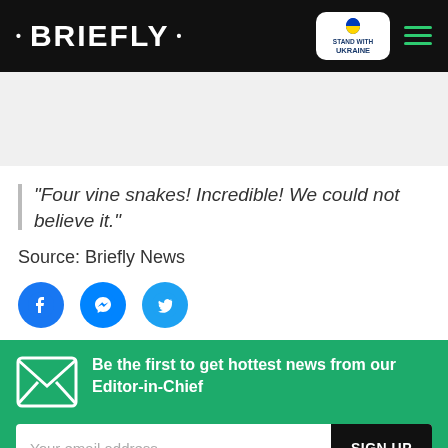· BRIEFLY ·
"Four vine snakes! Incredible! We could not believe it."
Source: Briefly News
[Figure (infographic): Social sharing icons: Facebook, Messenger, Twitter]
Be the first to get hottest news from our Editor-in-Chief
Your email address
SIGN UP
TAGS: DURBAN